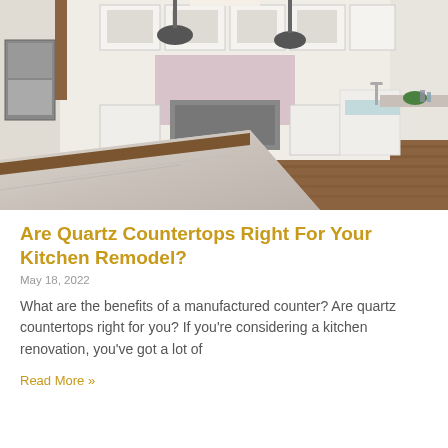[Figure (photo): Modern kitchen interior with white cabinets, marble/quartz countertops, pendant lights, hardwood floor, and kitchen island]
Are Quartz Countertops Right For Your Kitchen Remodel?
May 18, 2022
What are the benefits of a manufactured counter? Are quartz countertops right for you? If you're considering a kitchen renovation, you've got a lot of
Read More »